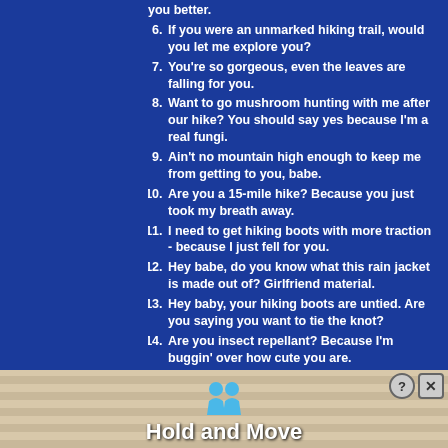you better.
6. If you were an unmarked hiking trail, would you let me explore you?
7. You're so gorgeous, even the leaves are falling for you.
8. Want to go mushroom hunting with me after our hike? You should say yes because I'm a real fungi.
9. Ain't no mountain high enough to keep me from getting to you, babe.
10. Are you a 15-mile hike? Because you just took my breath away.
11. I need to get hiking boots with more traction - because I just fell for you.
12. Hey babe, do you know what this rain jacket is made out of? Girlfriend material.
13. Hey baby, your hiking boots are untied. Are you saying you want to tie the knot?
14. Are you insect repellant? Because I'm buggin' over how cute you are.
15. This headlamp isn't the only thing getting turned on tonight.
16. Are you a campfire? Because you're smokin' hot and I want you to keep me warm all night after this hike.
17. Is that a stalagmite formation, or are you just happy to see me?
18. Are you a mountain climber? Because you've really peaked my interest.
19. Mind if I slip my rope under your route?
20. Can I be your hiking socks? Because I want to be with you every step of the way.
21. I've got all the gear you'll ever need to be your real mountain man, if you catch my drift. (Best used when followed by a wink)
[Figure (screenshot): Advertisement banner showing two blue figures and text 'Hold and Move' on a wooden striped background with close buttons]